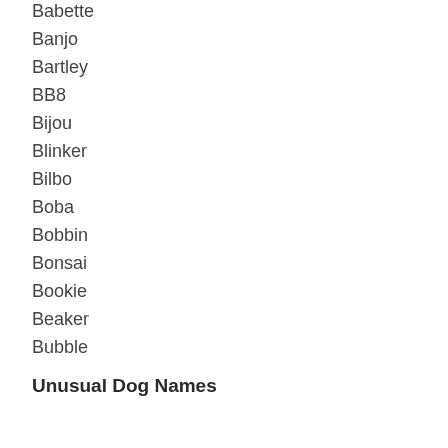Babette
Banjo
Bartley
BB8
Bijou
Blinker
Bilbo
Boba
Bobbin
Bonsai
Bookie
Beaker
Bubble
Unusual Dog Names